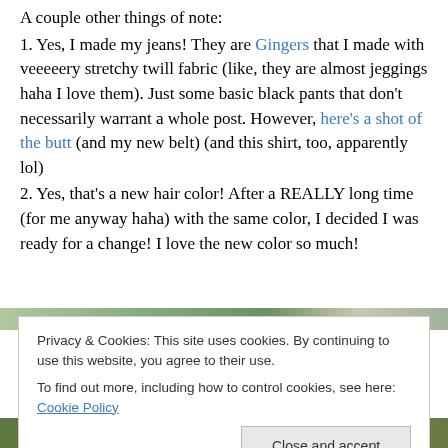A couple other things of note:
1. Yes, I made my jeans! They are Gingers that I made with veeeeery stretchy twill fabric (like, they are almost jeggings haha I love them). Just some basic black pants that don't necessarily warrant a whole post. However, here's a shot of the butt (and my new belt) (and this shirt, too, apparently lol)
2. Yes, that's a new hair color! After a REALLY long time (for me anyway haha) with the same color, I decided I was ready for a change! I love the new color so much!
[Figure (photo): Partial photo visible at top edge of cookie banner — outdoor/nature scene]
Privacy & Cookies: This site uses cookies. By continuing to use this website, you agree to their use. To find out more, including how to control cookies, see here: Cookie Policy
[Figure (photo): Photo strip at bottom of page showing person with red hair outdoors]